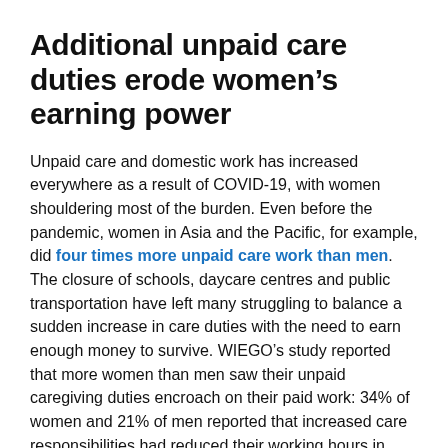Additional unpaid care duties erode women's earning power
Unpaid care and domestic work has increased everywhere as a result of COVID-19, with women shouldering most of the burden. Even before the pandemic, women in Asia and the Pacific, for example, did four times more unpaid care work than men. The closure of schools, daycare centres and public transportation have left many struggling to balance a sudden increase in care duties with the need to earn enough money to survive. WIEGO's study reported that more women than men saw their unpaid caregiving duties encroach on their paid work: 34% of women and 21% of men reported that increased care responsibilities had reduced their working hours in 2021